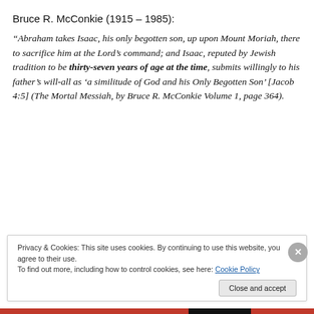Bruce R. McConkie (1915 – 1985):
“Abraham takes Isaac, his only begotten son, up upon Mount Moriah, there to sacrifice him at the Lord’s command; and Isaac, reputed by Jewish tradition to be thirty-seven years of age at the time, submits willingly to his father’s will-all as ‘a similitude of God and his Only Begotten Son’ [Jacob 4:5] (The Mortal Messiah, by Bruce R. McConkie Volume 1, page 364).
Privacy & Cookies: This site uses cookies. By continuing to use this website, you agree to their use.
To find out more, including how to control cookies, see here: Cookie Policy
Close and accept